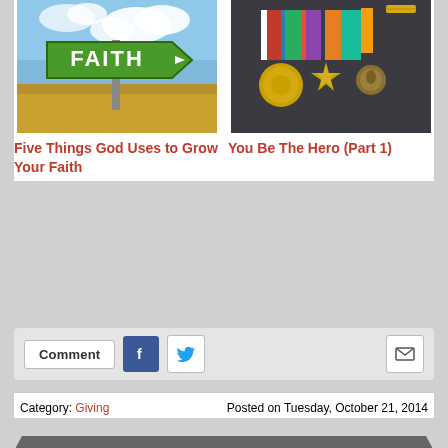[Figure (photo): Two article thumbnail images side by side: left shows a green road sign saying FAITH against blue sky and dry grass; right shows military medals on a dark uniform jacket.]
Five Things God Uses to Grow Your Faith
You Be The Hero (Part 1)
[Figure (infographic): Social sharing bar with Comment button, Facebook icon, Twitter icon, and email/envelope icon.]
Category: Giving     Posted on Tuesday, October 21, 2014
Get 2 Free eBooks By Subscribing To Our Newsletter!
[Figure (photo): Tablet device showing open eBook pages, partially visible at bottom of page.]